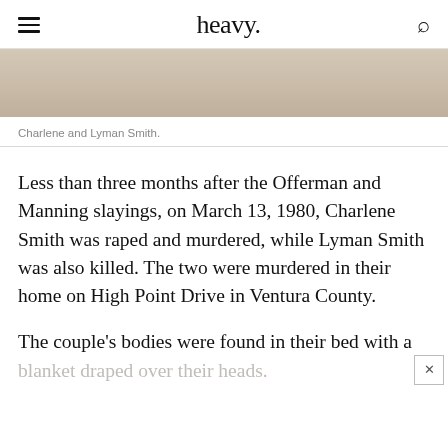heavy.
[Figure (photo): Partial photo showing the top of a person's head with brown hair against a beige/cream background — cropped, only bottom portion of photo visible.]
Charlene and Lyman Smith.
Less than three months after the Offerman and Manning slayings, on March 13, 1980, Charlene Smith was raped and murdered, while Lyman Smith was also killed. The two were murdered in their home on High Point Drive in Ventura County.
The couple's bodies were found in their bed with a blanket draped over their heads.